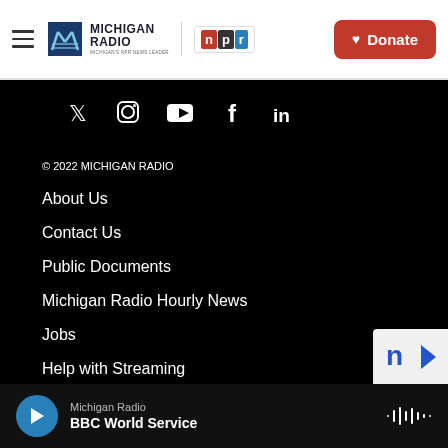Michigan Radio | NPR | Donate
[Figure (infographic): Social media icons row: Twitter, Instagram, YouTube, Facebook, LinkedIn on black background]
© 2022 MICHIGAN RADIO
About Us
Contact Us
Public Documents
Michigan Radio Hourly News
Jobs
Help with Streaming
Michigan Radio — BBC World Service (player bar)